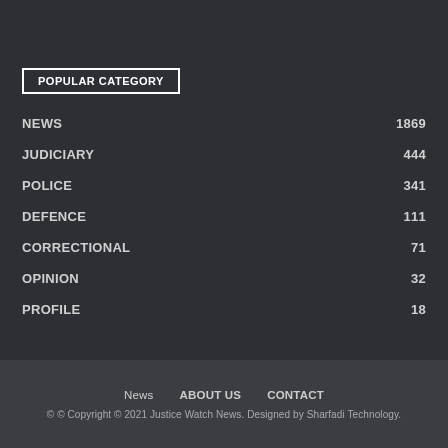POPULAR CATEGORY
NEWS  1869
JUDICIARY  444
POLICE  341
DEFENCE  111
CORRECTIONAL  71
OPINION  32
PROFILE  18
News   ABOUT US   CONTACT
© © Copyright © 2021 Justice Watch News. Designed by Sharfadi Technology.